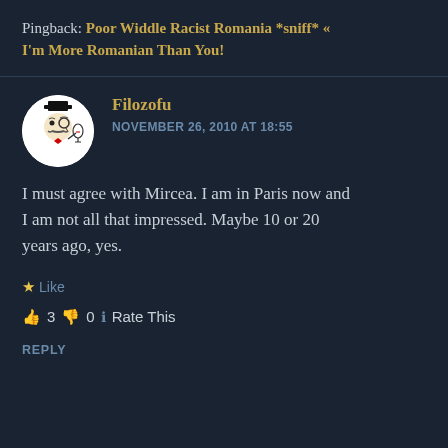Pingback: Poor Widdle Racist Romania *sniff* « I'm More Romanian Than You!
[Figure (illustration): Circular avatar with a meme-style illustration of a man in a top hat holding a wine glass, black and white drawing]
Filozofu
NOVEMBER 26, 2010 AT 18:55
I must agree with Mircea. I am in Paris now and I am not all that impressed. Maybe 10 or 20 years ago, yes.
★ Like
👍 3 👎 0 ℹ Rate This
REPLY